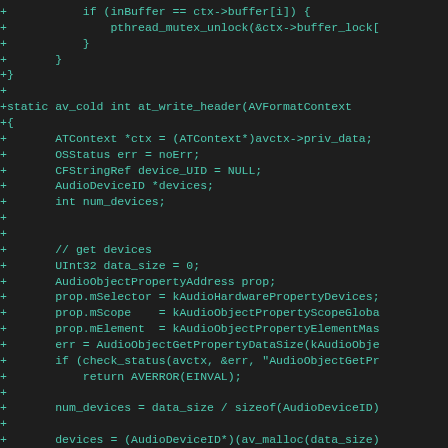[Figure (screenshot): Code diff screenshot showing C source code for at_write_header function in teal/cyan monospace font on dark background. Lines begin with '+' diff markers.]